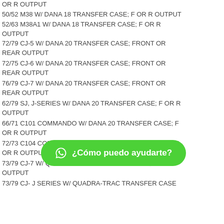OR R OUTPUT
50/52 M38 W/ DANA 18 TRANSFER CASE; F OR R OUTPUT
52/63 M38A1 W/ DANA 18 TRANSFER CASE; F OR R OUTPUT
72/79 CJ-5 W/ DANA 20 TRANSFER CASE; FRONT OR REAR OUTPUT
72/75 CJ-6 W/ DANA 20 TRANSFER CASE; FRONT OR REAR OUTPUT
76/79 CJ-7 W/ DANA 20 TRANSFER CASE; FRONT OR REAR OUTPUT
62/79 SJ, J-SERIES W/ DANA 20 TRANSFER CASE; F OR R OUTPUT
66/71 C101 COMMANDO W/ DANA 20 TRANSFER CASE; F OR R OUTPUT
72/73 C104 COMMANDO W/ DANA 20 TRANSFER CASE; F OR R OUTPUT
73/79 CJ-7 W/ QUADRA-TRAC TRANSFER CASE; F OR R OUTPUT
73/79 CJ-J SERIES W/ QUADRA-TRAC TRANSFER CASE